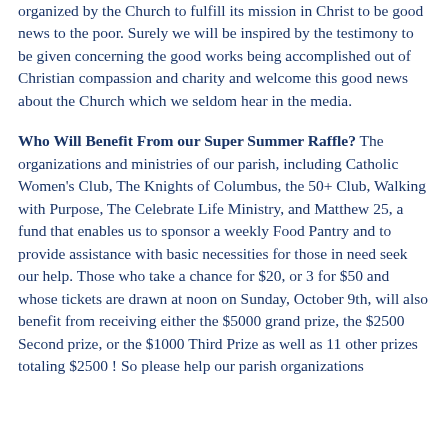organized by the Church to fulfill its mission in Christ to be good news to the poor. Surely we will be inspired by the testimony to be given concerning the good works being accomplished out of Christian compassion and charity and welcome this good news about the Church which we seldom hear in the media.
Who Will Benefit From our Super Summer Raffle? The organizations and ministries of our parish, including Catholic Women's Club, The Knights of Columbus, the 50+ Club, Walking with Purpose, The Celebrate Life Ministry, and Matthew 25, a fund that enables us to sponsor a weekly Food Pantry and to provide assistance with basic necessities for those in need seek our help. Those who take a chance for $20, or 3 for $50 and whose tickets are drawn at noon on Sunday, October 9th, will also benefit from receiving either the $5000 grand prize, the $2500 Second prize, or the $1000 Third Prize as well as 11 other prizes totaling $2500 ! So please help our parish organizations